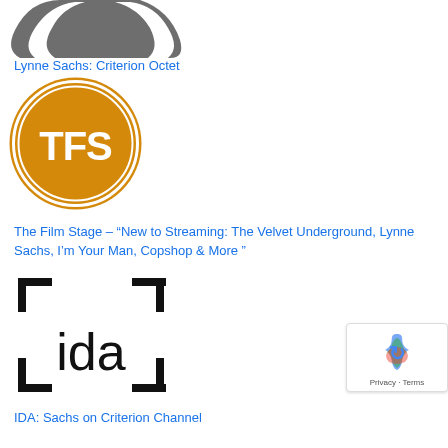[Figure (logo): Partial dark gray curved shape (bottom portion of a logo) at top of page]
Lynne Sachs: Criterion Octet
[Figure (logo): The Film Stage logo: orange circle with white double ring border and white bold text 'TFS' inside]
The Film Stage – “New to Streaming: The Velvet Underground, Lynne Sachs, I'm Your Man, Copshop & More”
[Figure (logo): IDA (International Documentary Association) logo: black bracket corners forming a square frame with lowercase 'ida' text in center]
IDA: Sachs on Criterion Channel